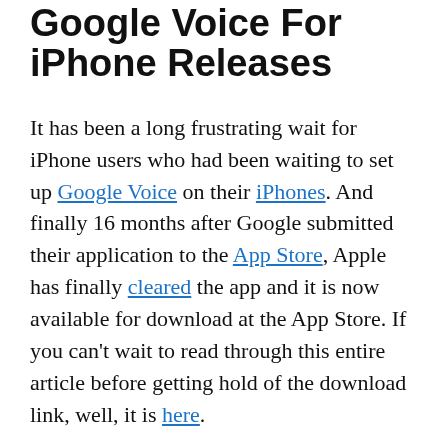Google Voice For iPhone Releases
It has been a long frustrating wait for iPhone users who had been waiting to set up Google Voice on their iPhones. And finally 16 months after Google submitted their application to the App Store, Apple has finally cleared the app and it is now available for download at the App Store. If you can't wait to read through this entire article before getting hold of the download link, well, it is here.
Some bit of history – Apple initially stayed the approval of Google Voice citing its similarity to the native iPhone dialling system. Also, the...